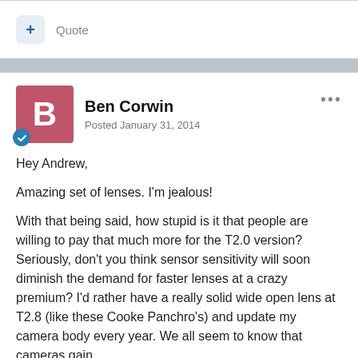Quote
Ben Corwin
Posted January 31, 2014
Hey Andrew,
Amazing set of lenses. I'm jealous!
With that being said, how stupid is it that people are willing to pay that much more for the T2.0 version? Seriously, don't you think sensor sensitivity will soon diminish the demand for faster lenses at a crazy premium? I'd rather have a really solid wide open lens at T2.8 (like these Cooke Panchro's) and update my camera body every year. We all seem to know that cameras gain